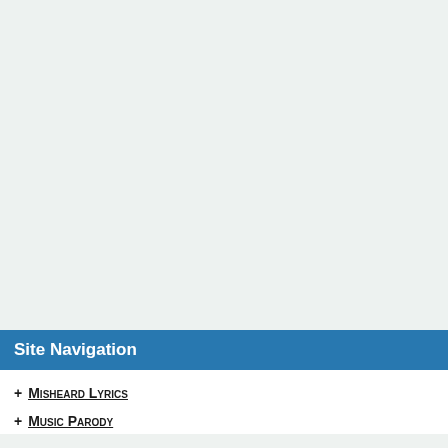Site Navigation
+ Misheard Lyrics
+ Music Parody